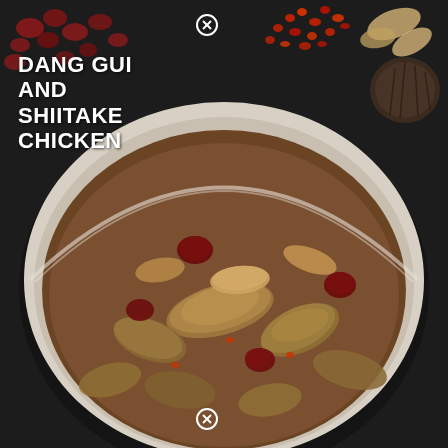[Figure (photo): Overhead food photograph of a bowl of Dang Gui and Shiitake Chicken dish — braised chicken pieces with shiitake mushrooms, red dates (jujubes), and sauce in a white ceramic bowl, set on a dark background with scattered goji berries, dried red dates, ginger slices, and dried shiitake mushrooms around the bowl.]
DANG GUI AND SHIITAKE CHICKEN